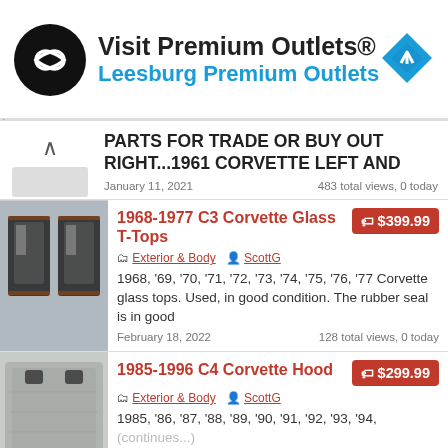[Figure (other): Advertisement banner for Visit Premium Outlets® — Leesburg Premium Outlets, with circular black logo with infinity symbol and blue diamond navigation icon]
PARTS FOR TRADE OR BUY OUT RIGHT...1961 CORVETTE LEFT AND
January 11, 2021   483 total views, 0 today
[Figure (photo): Photo of 1968-1977 C3 Corvette Glass T-Tops showing two glass panel frames]
1968-1977 C3 Corvette Glass T-Tops — $399.99
Exterior & Body | ScottG
1968, '69, '70, '71, '72, '73, '74, '75, '76, '77 Corvette glass tops. Used, in good condition. The rubber seal is in good
February 18, 2022   128 total views, 0 today
[Figure (photo): Photo of 1985-1996 C4 Corvette Hood]
1985-1996 C4 Corvette Hood — $299.99
Exterior & Body | ScottG
1985, '86, '87, '88, '89, '90, '91, '92, '93, '94,